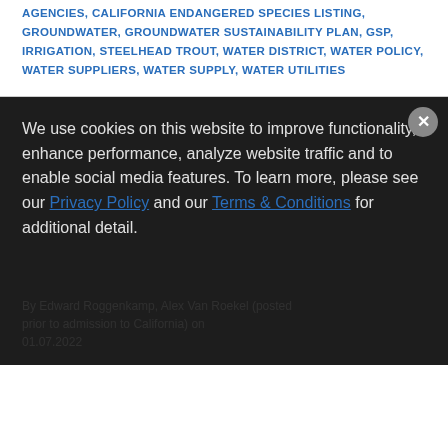AGENCIES, CALIFORNIA ENDANGERED SPECIES LISTING, GROUNDWATER, GROUNDWATER SUSTAINABILITY PLAN, GSP, IRRIGATION, STEELHEAD TROUT, WATER DISTRICT, WATER POLICY, WATER SUPPLIERS, WATER SUPPLY, WATER UTILITIES
EPA Announces Unregulated Contaminant Monitoring Rule 5 Final Rule Webinars
By Edward Roggenkamp, Alex Van Roekel (posted prior to admission to California) on 01.07.2022
We use cookies on this website to improve functionality, enhance performance, analyze website traffic and to enable social media features. To learn more, please see our Privacy Policy and our Terms & Conditions for additional detail.